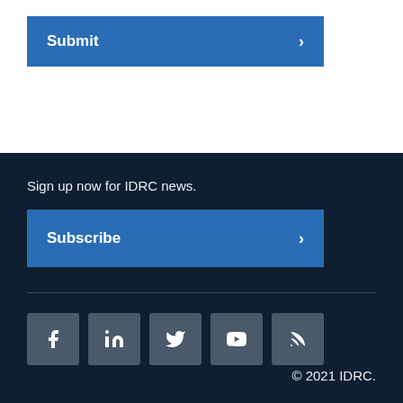Submit
Sign up now for IDRC news.
Subscribe
[Figure (other): Social media icons: Facebook, LinkedIn, Twitter, YouTube, RSS feed]
© 2021 IDRC.